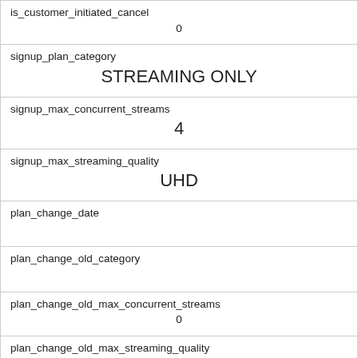| is_customer_initiated_cancel | 0 |
| signup_plan_category | STREAMING ONLY |
| signup_max_concurrent_streams | 4 |
| signup_max_streaming_quality | UHD |
| plan_change_date |  |
| plan_change_old_category |  |
| plan_change_old_max_concurrent_streams | 0 |
| plan_change_old_max_streaming_quality |  |
| plan_change_new_category |  |
| plan_change_new_max_concurrent_streams | 0 |